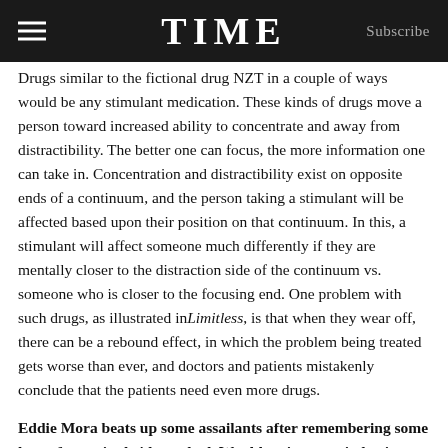TIME  Subscribe
Drugs similar to the fictional drug NZT in a couple of ways would be any stimulant medication. These kinds of drugs move a person toward increased ability to concentrate and away from distractibility. The better one can focus, the more information one can take in. Concentration and distractibility exist on opposite ends of a continuum, and the person taking a stimulant will be affected based upon their position on that continuum. In this, a stimulant will affect someone much differently if they are mentally closer to the distraction side of the continuum vs. someone who is closer to the focusing end. One problem with such drugs, as illustrated in Limitless, is that when they wear off, there can be a rebound effect, in which the problem being treated gets worse than ever, and doctors and patients mistakenly conclude that the patients need even more drugs.
Eddie Mora beats up some assailants after remembering some kung-fu movies he'd watched. Would an increase in brain function necessarily correlate to an increase in physical prowess? What would be the actual bodily repercussions of such enhancement?
[undred